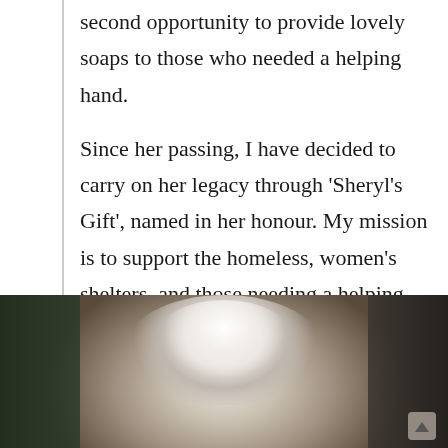second opportunity to provide lovely soaps to those who needed a helping hand.
Since her passing, I have decided to carry on her legacy through 'Sheryl's Gift', named in her honour. My mission is to support the homeless, women's shelters, and those needing a helping hand up from whatever difficult circumstances life has thrown at them.
[Figure (photo): Photo showing the top of an elderly person's head with white/silver hair, against a dark background with green/dark tones on the left and dark tones on the right. A scroll-up button is visible in the bottom right corner.]